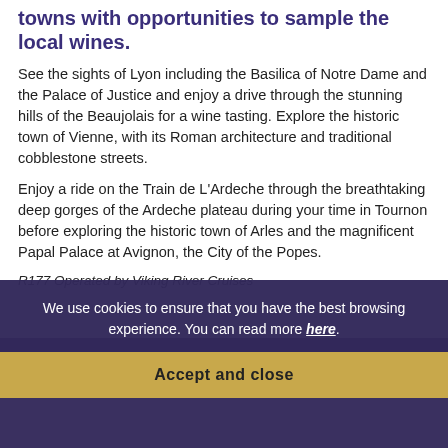towns with opportunities to sample the local wines.
See the sights of Lyon including the Basilica of Notre Dame and the Palace of Justice and enjoy a drive through the stunning hills of the Beaujolais for a wine tasting. Explore the historic town of Vienne, with its Roman architecture and traditional cobblestone streets.
Enjoy a ride on the Train de L'Ardeche through the breathtaking deep gorges of the Ardeche plateau during your time in Tournon before exploring the historic town of Arles and the magnificent Papal Palace at Avignon, the City of the Popes.
R177 Operated by Viking River Cruises
We use cookies to ensure that you have the best browsing experience. You can read more here.
More Rhone Cruises
More Viking River Cruises
Accept and close